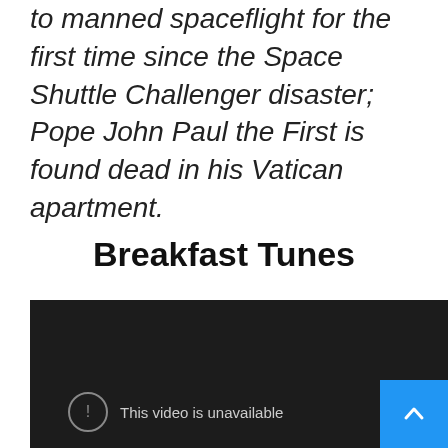to manned spaceflight for the first time since the Space Shuttle Challenger disaster; Pope John Paul the First is found dead in his Vatican apartment.
Breakfast Tunes
[Figure (screenshot): Dark video player with error message: This video is unavailable, with a circular exclamation icon and a blue scroll-to-top button in the bottom right corner.]